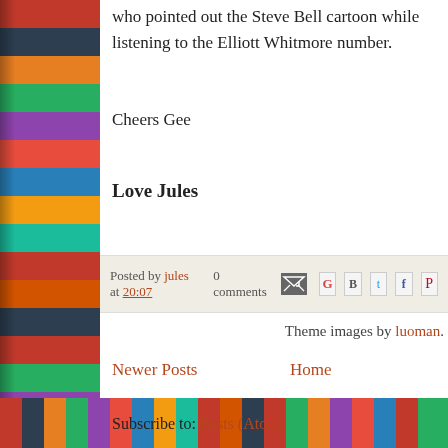who pointed out the Steve Bell cartoon while listening to the Elliott Whitmore number.
Cheers Gee
Love Jules
Posted by jules at 20:07   0 comments
Newer Posts
Home
Subscribe to: Posts (Atom)
Theme images by luoman.